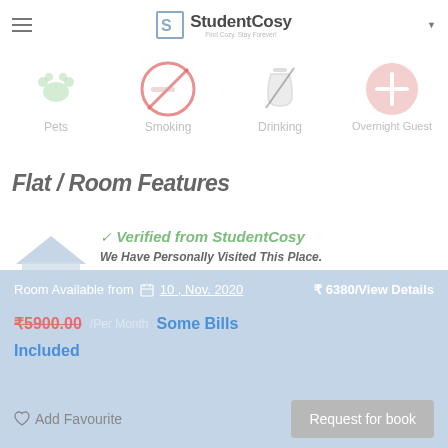StudentCosy
[Figure (infographic): Four icons for house rules: Pets (faded green paw print), Smoking (red prohibition), Drinking (bottle with cross), Overnight Guest (cross icon)]
Flat / Room Features
[Figure (illustration): House icon illustration in light blue/gray tones]
✔ Verified from StudentCosy
We Have Personally Visited This Place.
One Of Our Place Checkers Has Visited This Place, And Confirmed Its Location And
Room Available from  📅 10 , Nov. 2020
₹5900.00 /Per Month   Some Bills Included
₹ 6380/View Details
♡ Add Favourite
Request for book